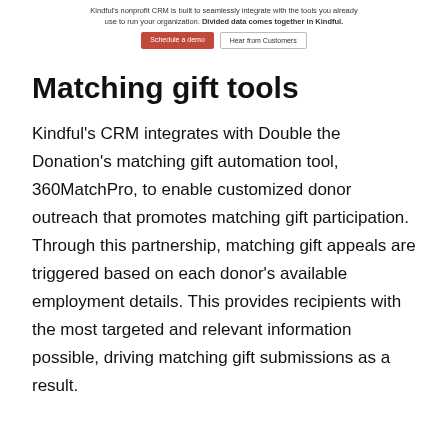Kindful's nonprofit CRM is built to seamlessly integrate with the tools you already use to run your organization. Divided data comes together in Kindful.
Matching gift tools
Kindful's CRM integrates with Double the Donation's matching gift automation tool, 360MatchPro, to enable customized donor outreach that promotes matching gift participation. Through this partnership, matching gift appeals are triggered based on each donor's available employment details. This provides recipients with the most targeted and relevant information possible, driving matching gift submissions as a result.